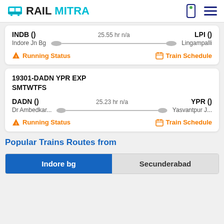RAILMITRA
INDB ()   25.55 hr n/a   LPI ()
Indore Jn Bg   Lingampalli
Running Status   Train Schedule
19301-DADN YPR EXP
SMTWTFS
DADN ()   25.23 hr n/a   YPR ()
Dr Ambedkar...   Yasvantpur J...
Running Status   Train Schedule
Popular Trains Routes from
Indore bg   Secunderabad